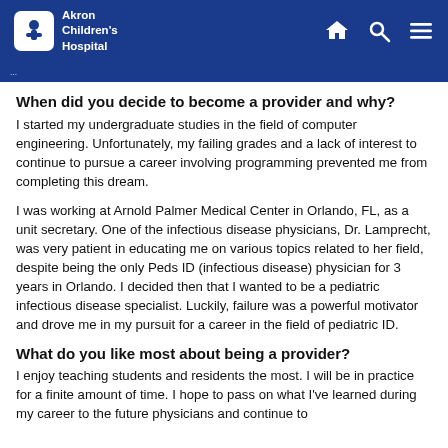Akron Children's Hospital
When did you decide to become a provider and why?
I started my undergraduate studies in the field of computer engineering. Unfortunately, my failing grades and a lack of interest to continue to pursue a career involving programming prevented me from completing this dream.
I was working at Arnold Palmer Medical Center in Orlando, FL, as a unit secretary. One of the infectious disease physicians, Dr. Lamprecht, was very patient in educating me on various topics related to her field, despite being the only Peds ID (infectious disease) physician for 3 years in Orlando. I decided then that I wanted to be a pediatric infectious disease specialist. Luckily, failure was a powerful motivator and drove me in my pursuit for a career in the field of pediatric ID.
What do you like most about being a provider?
I enjoy teaching students and residents the most. I will be in practice for a finite amount of time. I hope to pass on what I've learned during my career to the future physicians and continue to